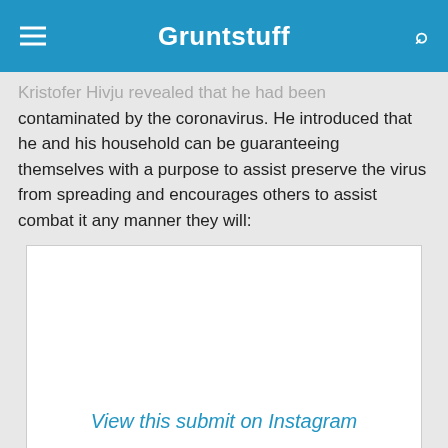Gruntstuff
Kristofer Hivju revealed that he had been contaminated by the coronavirus. He introduced that he and his household can be guaranteeing themselves with a purpose to assist preserve the virus from spreading and encourages others to assist combat it any manner they will:
[Figure (screenshot): Embedded Instagram post with link text 'View this submit on Instagram' and caption beginning 'Greetings from Norway! Sorry to say that I, in the present day,']